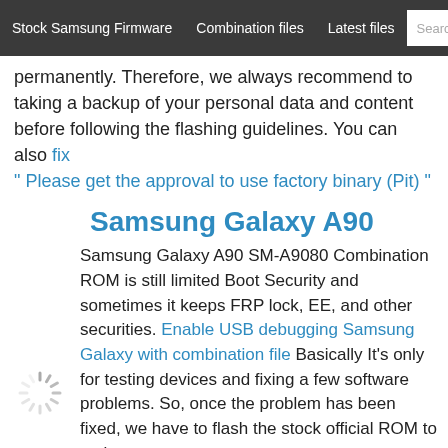Stock Samsung Firmware   Combination files   Latest files
permanently. Therefore, we always recommend to taking a backup of your personal data and content before following the flashing guidelines. You can also fix " Please get the approval to use factory binary (Pit) "
Samsung Galaxy A90
Samsung Galaxy A90 SM-A9080 Combination ROM is still limited Boot Security and sometimes it keeps FRP lock, EE, and other securities. Enable USB debugging Samsung Galaxy with combination file Basically It's only for testing devices and fixing a few software problems. So, once the problem has been fixed, we have to flash the stock official ROM to make